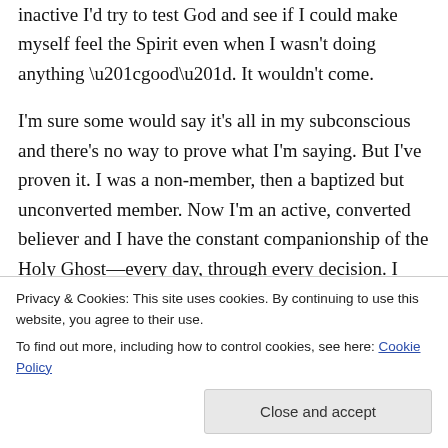inactive I'd try to test God and see if I could make myself feel the Spirit even when I wasn't doing anything “good”. It wouldn't come.

I'm sure some would say it's all in my subconscious and there's no way to prove what I'm saying. But I've proven it. I was a non-member, then a baptized but unconverted member. Now I'm an active, converted believer and I have the constant companionship of the Holy Ghost—every day, through every decision. I can’t “make myself” feel it. I feel it when I am
Privacy & Cookies: This site uses cookies. By continuing to use this website, you agree to their use.
To find out more, including how to control cookies, see here: Cookie Policy